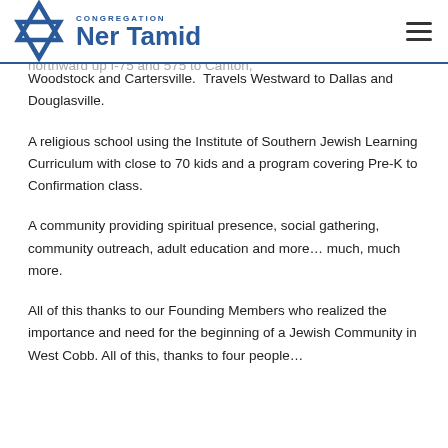Congregation Ner Tamid
including Jewish Soldiers on both sides, lost their lives.
anding strong with growing membership. Membership that reaches southward towards Vinings/Smyrna, climbs northward up I-75 and 575 to Canton, Woodstock and Cartersville. Travels Westward to Dallas and Douglasville.
A religious school using the Institute of Southern Jewish Learning Curriculum with close to 70 kids and a program covering Pre-K to Confirmation class.
A community providing spiritual presence, social gathering, community outreach, adult education and more… much, much more.
All of this thanks to our Founding Members who realized the importance and need for the beginning of a Jewish Community in West Cobb. All of this, thanks to four people…